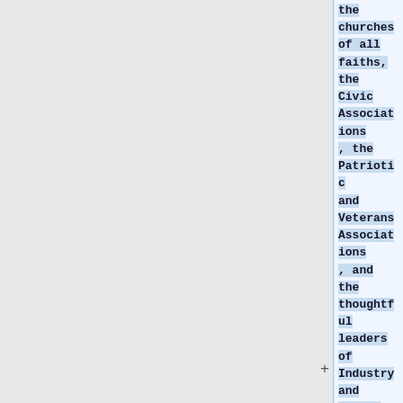the churches of all faiths, the Civic Associations, the Patriotic and Veterans Associations, and the thoughtful leaders of Industry and Labor, can cleanse the Auge an Stable which the United States has become. For when under our system a